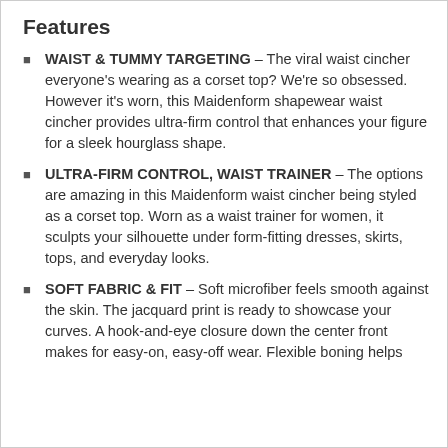Features
WAIST & TUMMY TARGETING – The viral waist cincher everyone's wearing as a corset top? We're so obsessed. However it's worn, this Maidenform shapewear waist cincher provides ultra-firm control that enhances your figure for a sleek hourglass shape.
ULTRA-FIRM CONTROL, WAIST TRAINER – The options are amazing in this Maidenform waist cincher being styled as a corset top. Worn as a waist trainer for women, it sculpts your silhouette under form-fitting dresses, skirts, tops, and everyday looks.
SOFT FABRIC & FIT – Soft microfiber feels smooth against the skin. The jacquard print is ready to showcase your curves. A hook-and-eye closure down the center front makes for easy-on, easy-off wear. Flexible boning helps